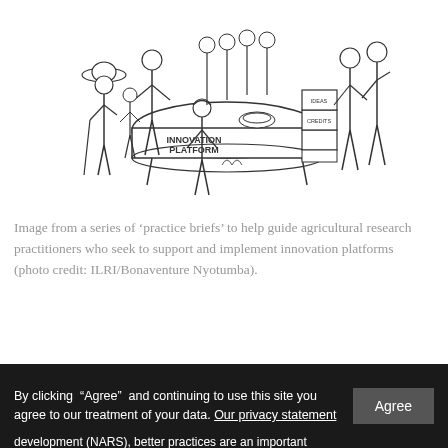[Figure (illustration): Black and white line drawing illustration showing a group of people gathered around a table labeled 'INNOVATION PLATFORM'. Various stakeholders including farmers and researchers are depicted exchanging ideas and goods. Signs on the right read 'CREDITS', 'IDEAS'. A woman in a hat stands to the left.]
Image from a series of ‘practice briefs’ to help guide agricultural research practitioners who seek to support and implement innovation platforms (photo credit: ILRI/Bonaventure Nyotumba).
By clicking “Agree” and continuing to use this site you agree to our treatment of your data. Our privacy statement